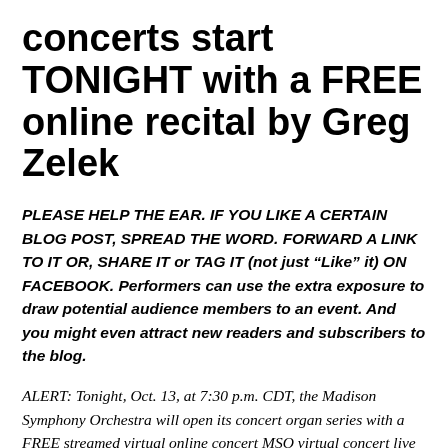concerts start TONIGHT with a FREE online recital by Greg Zelek
PLEASE HELP THE EAR. IF YOU LIKE A CERTAIN BLOG POST, SPREAD THE WORD. FORWARD A LINK TO IT OR, SHARE IT or TAG IT (not just “Like” it) ON FACEBOOK. Performers can use the extra exposure to draw potential audience members to an event. And you might even attract new readers and subscribers to the blog.
ALERT: Tonight, Oct. 13, at 7:30 p.m. CDT, the Madison Symphony Orchestra will open its concert organ series with a FREE streamed virtual online concert MSO virtual concert live from Overture Hall. The performer is MSO